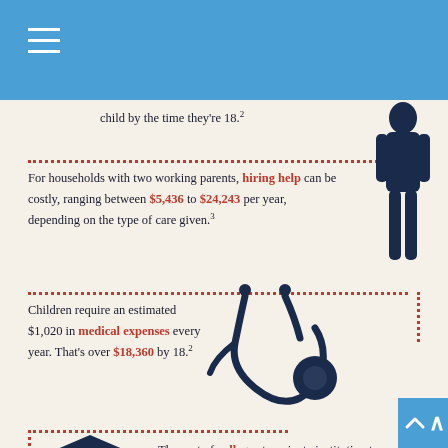child by the time they're 18.²
For households with two working parents, hiring help can be costly, ranging between $5,436 to $24,243 per year, depending on the type of care given.³
Children require an estimated $1,020 in medical expenses every year. That's over $18,360 by 18.²
The cost of college at a private institution topped $54,880 a year for the 2020-2021 school year.⁴
[Figure (illustration): Silhouette of adult figure (parent) in dark navy blue]
[Figure (illustration): Dark navy blue stethoscope illustration]
[Figure (illustration): Dark navy blue graduation cap illustration]